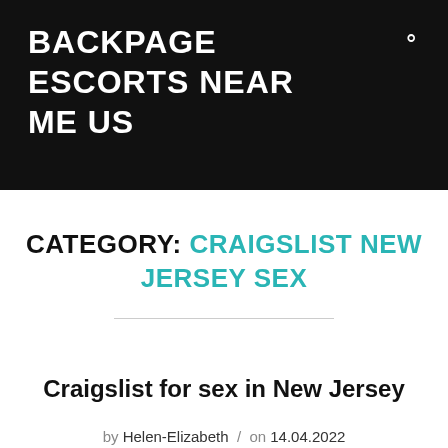BACKPAGE ESCORTS NEAR ME US
CATEGORY: CRAIGSLIST NEW JERSEY SEX
Craigslist for sex in New Jersey
by Helen-Elizabeth / on 14.04.2022